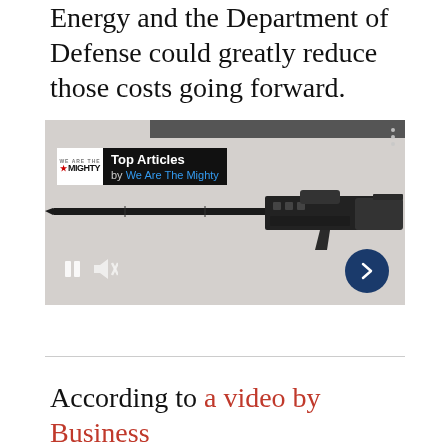Energy and the Department of Defense could greatly reduce those costs going forward.
[Figure (screenshot): Video player showing a black and white image of a rifle/weapon, with a 'Top Articles by We Are The Mighty' overlay in the top-left corner, pause and mute controls at the bottom-left, a right-arrow navigation button at the bottom-right, and three-dot menu at the top-right.]
According to a video by Business